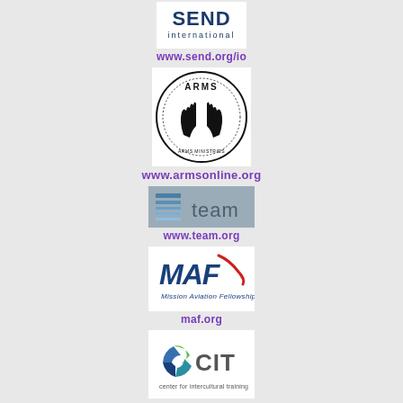[Figure (logo): SEND International logo - blue text 'SEND international' on white background]
www.send.org/io
[Figure (logo): ARMS logo - circular black and white logo with raised hands and text 'ARMS']
www.armsonline.org
[Figure (logo): TEAM logo - grey background with blue/silver stylized T graphic and 'team' text]
www.team.org
[Figure (logo): MAF - Mission Aviation Fellowship logo with blue stylized text and red swoosh]
maf.org
[Figure (logo): CIT - Center for Intercultural Training logo with blue/green circular graphic and grey CIT text]
cit-online.org/retreat